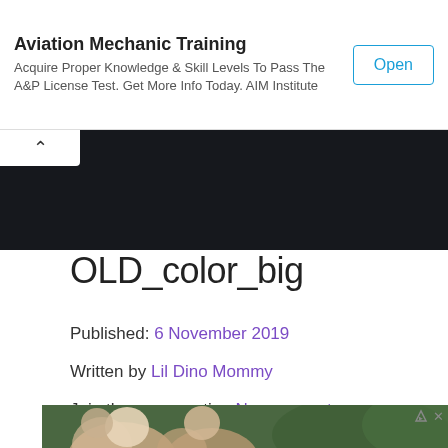[Figure (other): Advertisement banner for Aviation Mechanic Training with 'Open' button. Text: 'Aviation Mechanic Training – Acquire Proper Knowledge & Skill Levels To Pass The A&P License Test. Get More Info Today. AIM Institute']
[Figure (screenshot): Dark navigation bar with a white tab showing an upward caret arrow]
OLD_color_big
Published: 6 November 2019
Written by Lil Dino Mommy
Join the conversation No comments
[Figure (photo): Partial photo of people outdoors, partially visible at bottom of page, with an ad indicator icon in the top-right corner]